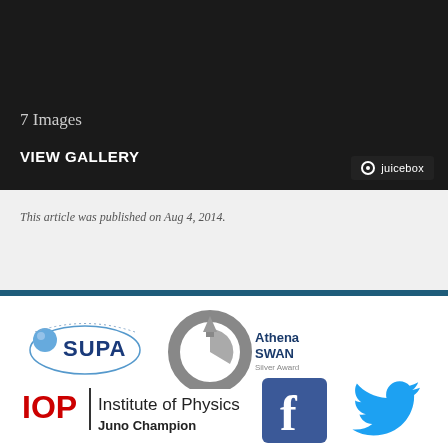[Figure (screenshot): Dark gallery panel with image count and VIEW GALLERY button with juicebox branding]
This article was published on Aug 4, 2014.
[Figure (logo): SUPA logo - Scottish Universities Physics Alliance]
[Figure (logo): Athena SWAN Silver Award - ECU Gender Charter]
[Figure (logo): IOP Institute of Physics Juno Champion]
[Figure (logo): Facebook logo]
[Figure (logo): Twitter logo]